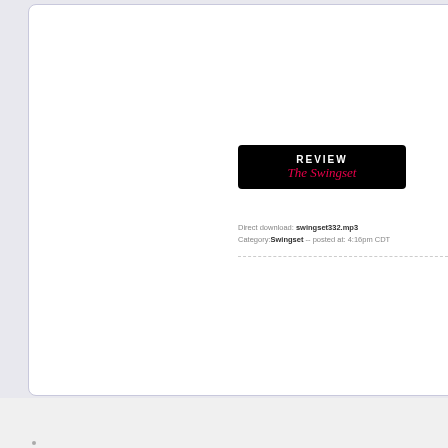[Figure (logo): Black rounded rectangle badge with 'REVIEW' in white bold uppercase text and 'The Swingset' in pink italic script below]
Direct download: swingset332.mp3
Category: Swingset -- posted at: 4:16pm CDT